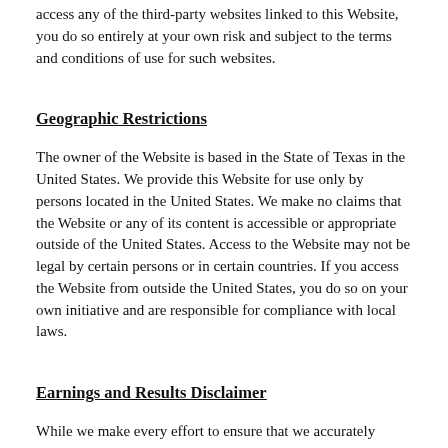access any of the third-party websites linked to this Website, you do so entirely at your own risk and subject to the terms and conditions of use for such websites.
Geographic Restrictions
The owner of the Website is based in the State of Texas in the United States. We provide this Website for use only by persons located in the United States. We make no claims that the Website or any of its content is accessible or appropriate outside of the United States. Access to the Website may not be legal by certain persons or in certain countries. If you access the Website from outside the United States, you do so on your own initiative and are responsible for compliance with local laws.
Earnings and Results Disclaimer
While we make every effort to ensure that we accurately represent all the Products and Services on this